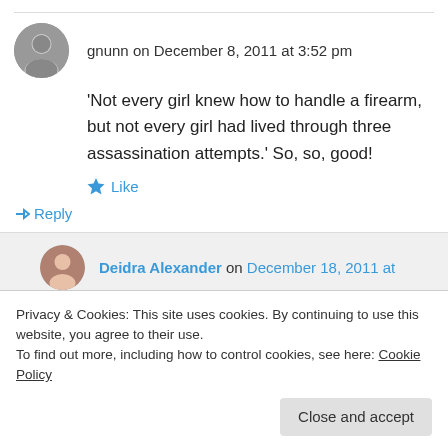gnunn on December 8, 2011 at 3:52 pm
'Not every girl knew how to handle a firearm, but not every girl had lived through three assassination attempts.' So, so, good!
Like
Reply
Deidra Alexander on December 18, 2011 at
Privacy & Cookies: This site uses cookies. By continuing to use this website, you agree to their use. To find out more, including how to control cookies, see here: Cookie Policy
Close and accept